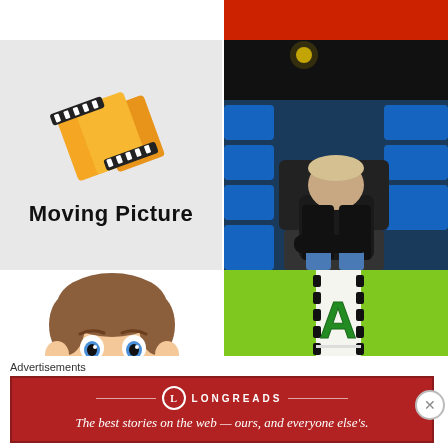[Figure (illustration): Red banner strip at top right]
[Figure (logo): Moving Picture logo: filmstrip graphic in gold/orange with text 'Moving Picture' on grey background]
[Figure (photo): Man in black leather jacket sitting alone in blue cinema seats in a dark theater]
[Figure (illustration): Cartoon smiling boy with brown hair and blue eyes, wearing yellow shirt]
[Figure (logo): Green background with black filmstrip showing large green letters A and T — appears to be a logo]
Advertisements
[Figure (infographic): Longreads advertisement banner: red background with Longreads logo and text 'The best stories on the web — ours, and everyone else's.']